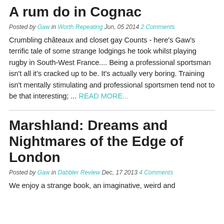A rum do in Cognac
Posted by Gaw  in  Worth Repeating  Jun, 05 2014  2 Comments
Crumbling châteaux and closet gay Counts - here's Gaw's terrific tale of some strange lodgings he took whilst playing rugby in South-West France.... Being a professional sportsman isn't all it's cracked up to be. It's actually very boring. Training isn't mentally stimulating and professional sportsmen tend not to be that interesting; ... READ MORE...
Marshland: Dreams and Nightmares of the Edge of London
Posted by Gaw  in  Dabbler Review  Dec, 17 2013  4 Comments
We enjoy a strange book, an imaginative, weird and